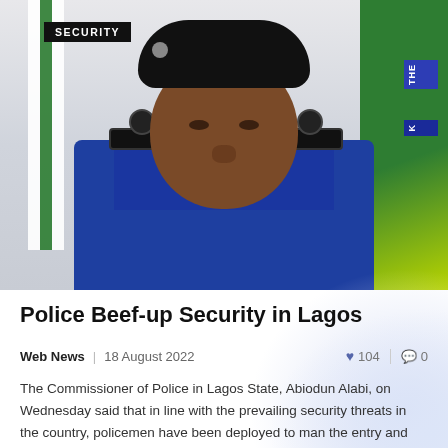[Figure (photo): Portrait photo of Commissioner of Police Abiodun Alabi wearing a dark navy police uniform with epaulettes and a black beret, standing in front of a Nigerian flag on the left and a green banner on the right.]
SECURITY
Police Beef-up Security in Lagos
Web News  |  18 August 2022  ♥ 104  💬 0
The Commissioner of Police in Lagos State, Abiodun Alabi, on Wednesday said that in line with the prevailing security threats in the country, policemen have been deployed to man the entry and exit points of